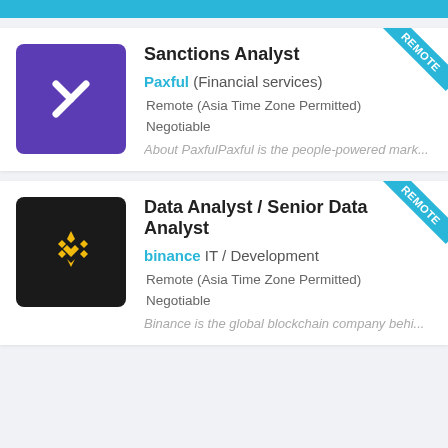Sanctions Analyst | Paxful (Financial services) | Remote (Asia Time Zone Permitted) | Negotiable | About PaxfulPaxful is the people-powered mark...
Data Analyst / Senior Data Analyst | binance IT / Development | Remote (Asia Time Zone Permitted) | Negotiable | Binance is the global blockchain company behi...